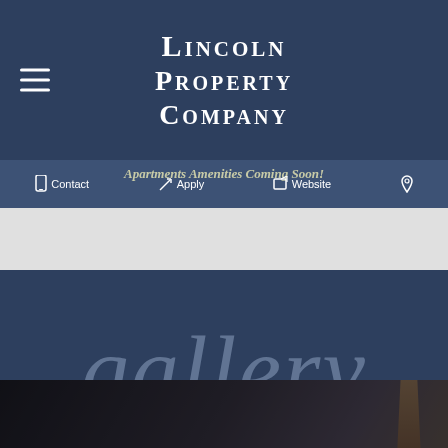Lincoln Property Company
[Figure (screenshot): Website screenshot showing Lincoln Property Company navigation with Contact, Apply, Website, and location icons, plus 'Apartments Amenities Coming Soon!' overlay text, a gallery section header with cursive 'gallery' text, and a partial photo of a modern interior with pendant lighting.]